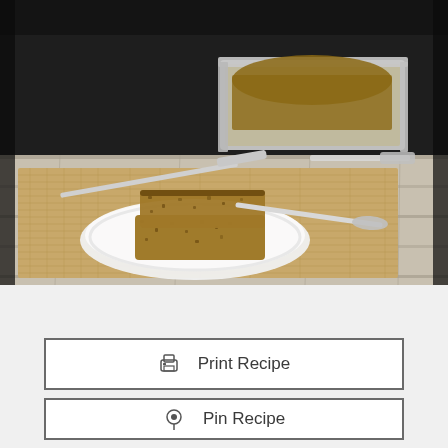[Figure (photo): Food photography showing two slices of banana nut bread on a white scalloped plate, placed on a burlap mat on a weathered wood surface. A silver knife is beside the plate, and a metal loaf pan with remaining bread is in the background. Dark background at top.]
Print Recipe
Pin Recipe